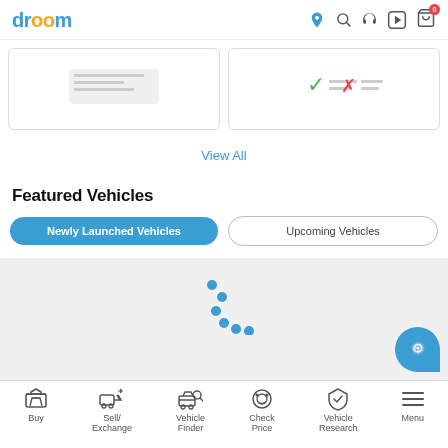[Figure (screenshot): Droom app header with logo and navigation icons (location, search, headset, play, cart with badge 0)]
[Figure (screenshot): Two product comparison cards partially visible at top]
View All
Featured Vehicles
[Figure (screenshot): Toggle buttons: active blue 'Newly Launched Vehicles' and inactive 'Upcoming Vehicles']
[Figure (screenshot): Loading spinner dots area and Droom blue chat bubble button]
Buy | Sell/Exchange | Vehicle Finder | Check Price | Vehicle Research | Menu